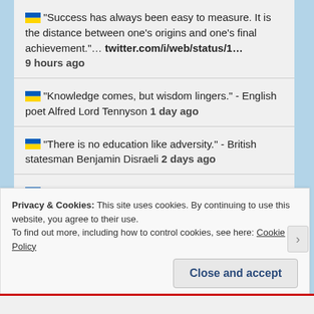🇺🇦 "Success has always been easy to measure. It is the distance between one's origins and one's final achievement."… twitter.com/i/web/status/1… 9 hours ago
🇺🇦 "Knowledge comes, but wisdom lingers." - English poet Alfred Lord Tennyson 1 day ago
🇺🇦 "There is no education like adversity." - British statesman Benjamin Disraeli 2 days ago
🇺🇦 "All my life, I always wanted to be somebody. Now I see that I should have been more specific." - American comedian Jane Wagner 3 days ago
Privacy & Cookies: This site uses cookies. By continuing to use this website, you agree to their use. To find out more, including how to control cookies, see here: Cookie Policy
Close and accept